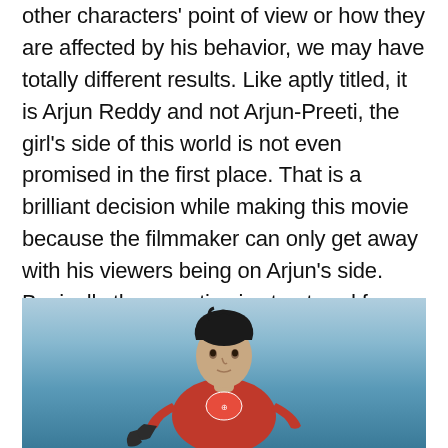other characters' point of view or how they are affected by his behavior, we may have totally different results. Like aptly titled, it is Arjun Reddy and not Arjun-Preeti, the girl's side of this world is not even promised in the first place. That is a brilliant decision while making this movie because the filmmaker can only get away with his viewers being on Arjun's side. Basically the narrative is structured for you to like Arjun.
[Figure (photo): A young man with dark hair wearing a red sports jersey and dark gloves, photographed against a light blue sky background.]